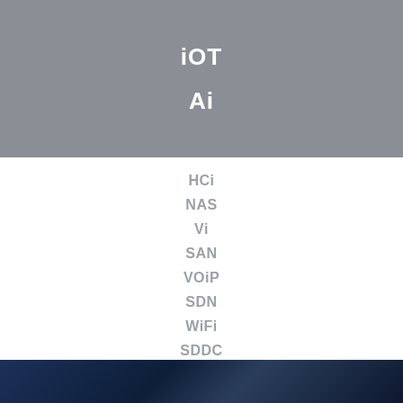iOT
Ai
HCi
NAS
Vi
SAN
VOiP
SDN
WiFi
SDDC
[Figure (photo): Dark blue blurred photo of server room or networking equipment at the bottom of the page]